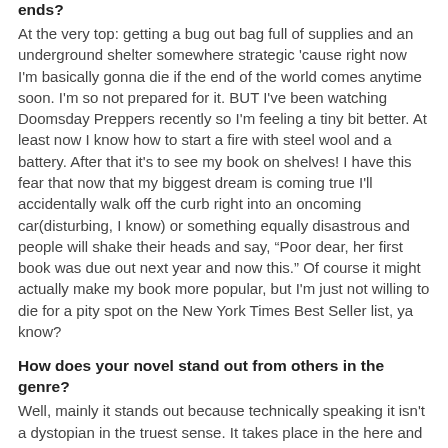ends?
At the very top: getting a bug out bag full of supplies and an underground shelter somewhere strategic 'cause right now I'm basically gonna die if the end of the world comes anytime soon. I'm so not prepared for it. BUT I've been watching Doomsday Preppers recently so I'm feeling a tiny bit better. At least now I know how to start a fire with steel wool and a battery. After that it's to see my book on shelves! I have this fear that now that my biggest dream is coming true I'll accidentally walk off the curb right into an oncoming car(disturbing, I know) or something equally disastrous and people will shake their heads and say, “Poor dear, her first book was due out next year and now this.” Of course it might actually make my book more popular, but I'm just not willing to die for a pity spot on the New York Times Best Seller list, ya know?
How does your novel stand out from others in the genre?
Well, mainly it stands out because technically speaking it isn't a dystopian in the truest sense. It takes place in the here and now, not in the future, but I’d argue that because of